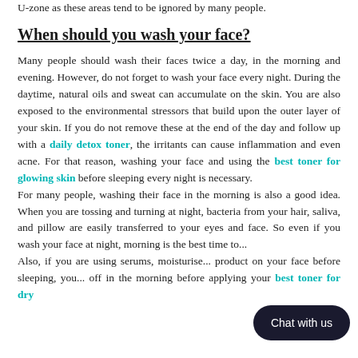U-zone as these areas tend to be ignored by many people.
When should you wash your face?
Many people should wash their faces twice a day, in the morning and evening. However, do not forget to wash your face every night. During the daytime, natural oils and sweat can accumulate on the skin. You are also exposed to the environmental stressors that build upon the outer layer of your skin. If you do not remove these at the end of the day and follow up with a daily detox toner, the irritants can cause inflammation and even acne. For that reason, washing your face and using the best toner for glowing skin before sleeping every night is necessary.
For many people, washing their face in the morning is also a good idea. When you are tossing and turning at night, bacteria from your hair, saliva, and pillow are easily transferred to your eyes and face. So even if you wash your face at night, morning is the best time to...
Also, if you are using serums, moisturise... product on your face before sleeping, you... off in the morning before applying your best toner for dry...